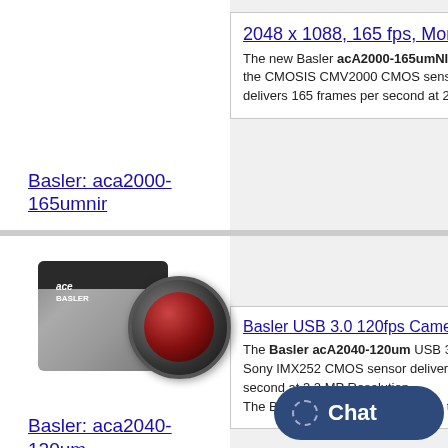Basler: aca2000-165umnir
2048 x 1088, 165 fps, Mono N
The new Basler acA2000-165umNIR USB the CMOSIS CMV2000 CMOS sensor delivers 165 frames per second at 2 M
[Figure (photo): Basler ace USB 3.0 industrial camera, silver body with black top and large lens]
Basler USB 3.0 120fps Came
The Basler acA2040-120um USB 3.0 Sony IMX252 CMOS sensor delivers 1 second at 3.2 MP Resolution. The Basler ace camera line covers the
Basler: aca2040-120um
Chat